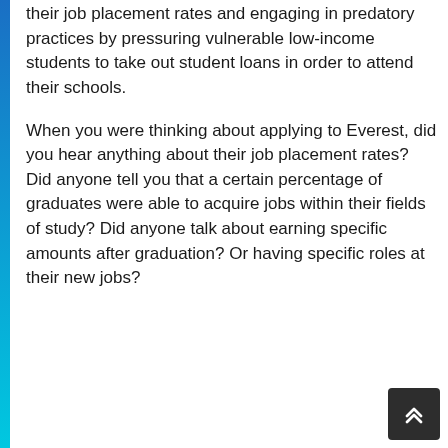their job placement rates and engaging in predatory practices by pressuring vulnerable low-income students to take out student loans in order to attend their schools.
When you were thinking about applying to Everest, did you hear anything about their job placement rates? Did anyone tell you that a certain percentage of graduates were able to acquire jobs within their fields of study? Did anyone talk about earning specific amounts after graduation? Or having specific roles at their new jobs?